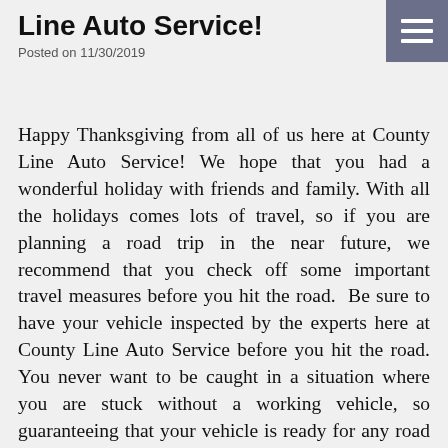Line Auto Service!
Posted on 11/30/2019
Happy Thanksgiving from all of us here at County Line Auto Service! We hope that you had a wonderful holiday with friends and family. With all the holidays comes lots of travel, so if you are planning a road trip in the near future, we recommend that you check off some important travel measures before you hit the road.  Be sure to have your vehicle inspected by the experts here at County Line Auto Service before you hit the road. You never want to be caught in a situation where you are stuck without a working vehicle, so guaranteeing that your vehicle is ready for any road trip will keep your family safe and bring you peace of mind on the road. Pack ample blankets and coats for the road to keep warm if you're traveling in the cold this winter.    Have an emergency kit on hand in your trunk to help out in cases of emergencies. Some things to make sure you have with